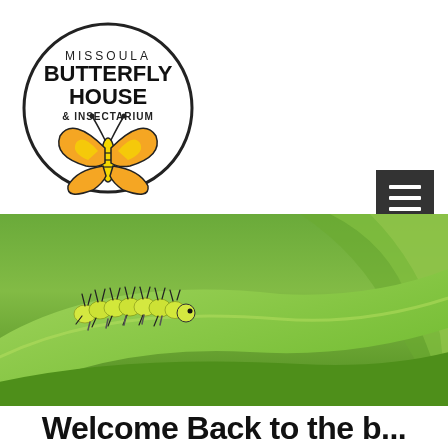[Figure (logo): Missoula Butterfly House & Insectarium circular logo with orange and yellow butterfly illustration]
[Figure (other): Hamburger menu button — dark grey square with three white horizontal lines]
[Figure (photo): Close-up photo of a yellow-green spiny caterpillar crawling on a green leaf blade, with blurred green background]
Welcome Back to the b...